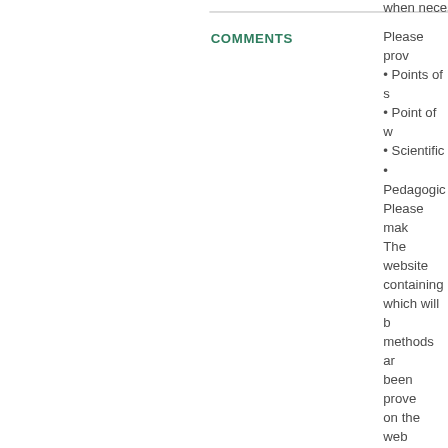when neces
COMMENTS
Please prov
• Points of s
• Point of w
• Scientific
• Pedagogic
Please mak
The websit
containing 
which will b
methods ar
been prove
on the web
a better ex
education s
innovative a
chemistry, l

The main a
narrated in
process an
pictures, sc
the logic be
main idea o
This is ofter